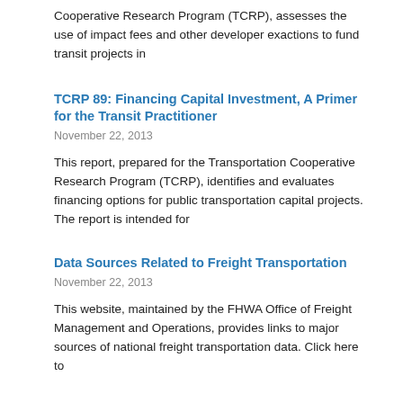Cooperative Research Program (TCRP), assesses the use of impact fees and other developer exactions to fund transit projects in
TCRP 89: Financing Capital Investment, A Primer for the Transit Practitioner
November 22, 2013
This report, prepared for the Transportation Cooperative Research Program (TCRP), identifies and evaluates financing options for public transportation capital projects. The report is intended for
Data Sources Related to Freight Transportation
November 22, 2013
This website, maintained by the FHWA Office of Freight Management and Operations, provides links to major sources of national freight transportation data. Click here to